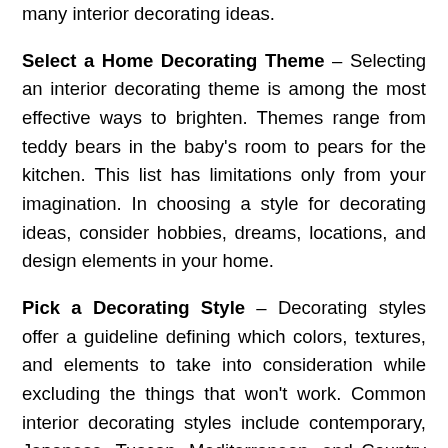many interior decorating ideas.
Select a Home Decorating Theme – Selecting an interior decorating theme is among the most effective ways to brighten. Themes range from teddy bears in the baby's room to pears for the kitchen. This list has limitations only from your imagination. In choosing a style for decorating ideas, consider hobbies, dreams, locations, and design elements in your home.
Pick a Decorating Style – Decorating styles offer a guideline defining which colors, textures, and elements to take into consideration while excluding the things that won't work. Common interior decorating styles include contemporary, Japanese, Tuscan, Mediterranean, and Country Ranch styles.
Research Online – The Internet offers thousands of links to